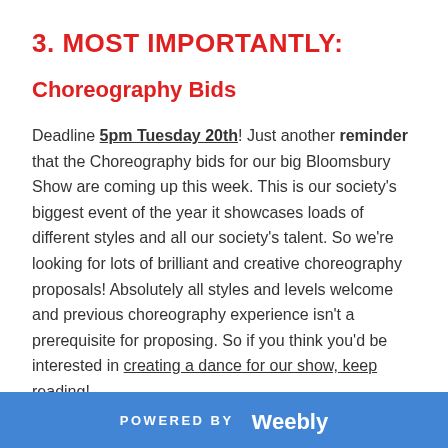3. MOST IMPORTANTLY:
Choreography Bids
Deadline 5pm Tuesday 20th! Just another reminder that the Choreography bids for our big Bloomsbury Show are coming up this week. This is our society's biggest event of the year it showcases loads of different styles and all our society's talent. So we're looking for lots of brilliant and creative choreography proposals! Absolutely all styles and levels welcome and previous choreography experience isn't a prerequisite for proposing. So if you think you'd be interested in creating a dance for our show, keep reading!
POWERED BY weebly